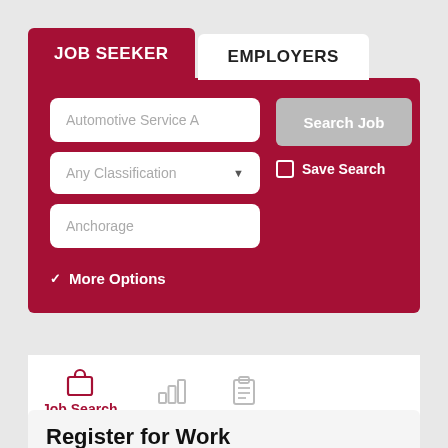JOB SEEKER
EMPLOYERS
[Figure (screenshot): Job search form with fields: Automotive Service A (keyword), Any Classification (dropdown), Anchorage (location), Search Job button, Save Search checkbox, and More Options expandable section]
Job Search
Register for Work